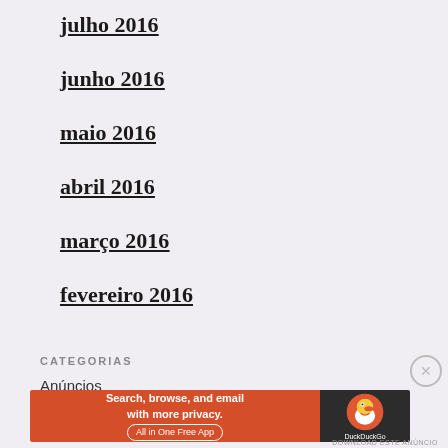julho 2016
junho 2016
maio 2016
abril 2016
março 2016
fevereiro 2016
CATEGORIAS
Anúncios
[Figure (other): DuckDuckGo advertisement banner: 'Search, browse, and email with more privacy. All in One Free App' with DuckDuckGo logo on dark background]